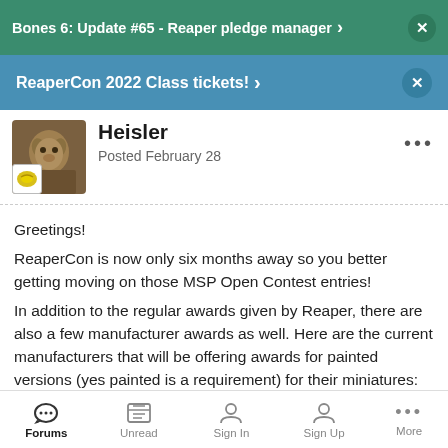Bones 6: Update #65 - Reaper pledge manager >  ×
ReaperCon 2022 Class tickets!  >  ×
Heisler
Posted February 28
Greetings!
ReaperCon is now only six months away so you better getting moving on those MSP Open Contest entries!
In addition to the regular awards given by Reaper, there are also a few manufacturer awards as well. Here are the current manufacturers that will be offering awards for painted versions (yes painted is a requirement) for their miniatures:

MidKnight Heroes - The Chibi competition - This sponsorship is
Forums  Unread  Sign In  Sign Up  More